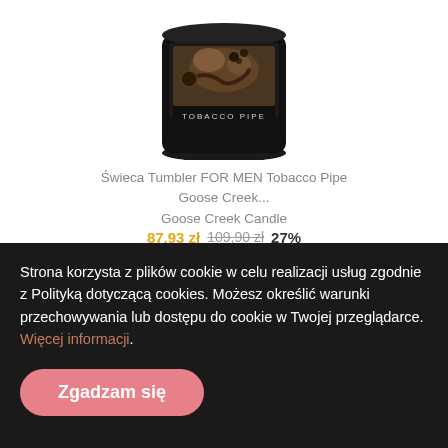[Figure (photo): Product photo of a black candle jar labeled 'TOBACCO PIPE' with an image of a tobacco pipe on its label.]
Świeca Tumbler FOR MEN Tobacco Pipe
Goose Creek...
Goose Creek Candle
87,93 zł 109,90 zł 27%
Strona korzysta z plików cookie w celu realizacji usług zgodnie z Polityką dotyczącą cookies. Możesz określić warunki przechowywania lub dostępu do cookie w Twojej przeglądarce. Więcej informacji.
Zgadzam się